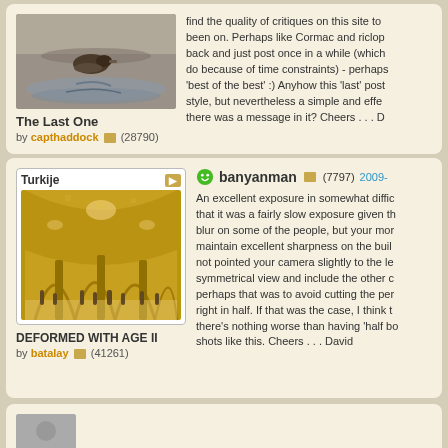[Figure (photo): Photo of a bird/duck on water - The Last One by capthaddock]
The Last One
by capthaddock (28790)
find the quality of critiques on this site to been on. Perhaps like Cormac and riclop back and just post once in a while (which do because of time constraints) - perhaps 'best of the best' :) Anyhow this 'last' post style, but nevertheless a simple and effec there was a message in it? Cheers . . . D
[Figure (photo): Interior of Hagia Sophia or similar mosque/cathedral with arches and tourists - DEFORMED WITH AGE II by batalay, album Turkije]
DEFORMED WITH AGE II
by batalay (41261)
banyanman (7797) 2009-
An excellent exposure in somewhat diffic that it was a fairly slow exposure given th blur on some of the people, but your mor maintain excellent sharpness on the buil not pointed your camera slightly to the le symmetrical view and include the other c perhaps that was to avoid cutting the per right in half. If that was the case, I think t there's nothing worse than having 'half bo shots like this. Cheers . . . David